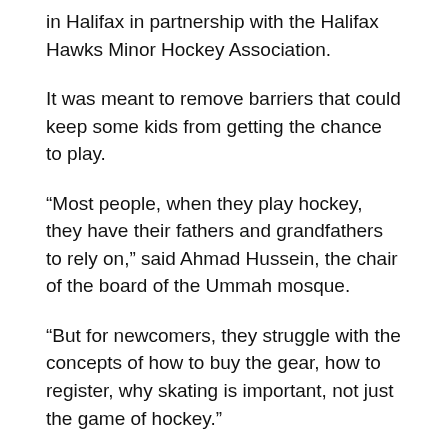in Halifax in partnership with the Halifax Hawks Minor Hockey Association.
It was meant to remove barriers that could keep some kids from getting the chance to play.
“Most people, when they play hockey, they have their fathers and grandfathers to rely on,” said Ahmad Hussein, the chair of the board of the Ummah mosque.
“But for newcomers, they struggle with the concepts of how to buy the gear, how to register, why skating is important, not just the game of hockey.”
Craig Robinson said the new gear was provided at a discount by their supplier. All the kids get to keep it. (Nicola Seguin/CBC)
The program was free thanks to sponsorships from national